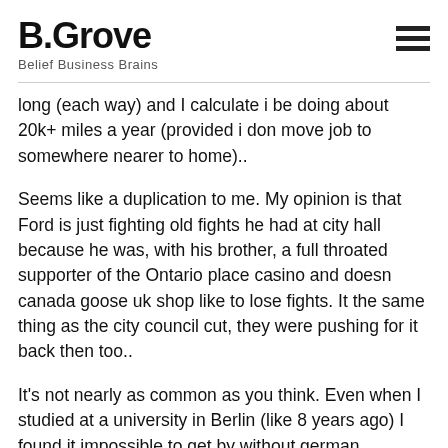B.Grove – Belief Business Brains
long (each way) and I calculate i be doing about 20k+ miles a year (provided i don move job to somewhere nearer to home)..
Seems like a duplication to me. My opinion is that Ford is just fighting old fights he had at city hall because he was, with his brother, a full throated supporter of the Ontario place casino and doesn canada goose uk shop like to lose fights. It the same thing as the city council cut, they were pushing for it back then too..
It's not nearly as common as you think. Even when I studied at a university in Berlin (like 8 years ago) I found it impossible to get by without german. Classes would be advertised as being in English and when you showed up, they were in german!. https://www.yokosukabase.com